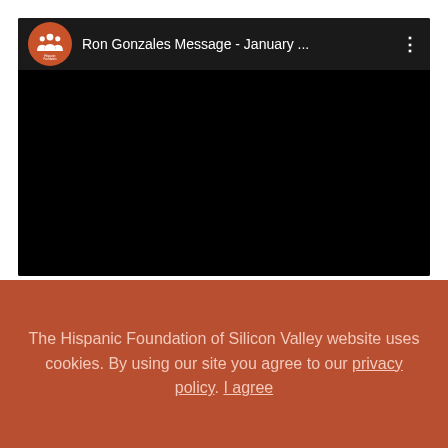[Figure (screenshot): YouTube-style embedded video player with black screen and channel header showing Hispanic Foundation logo and title 'Ron Gonzales Message - January ...']
I'm excited to share that the Hispanic Foundation was
The Hispanic Foundation of Silicon Valley website uses cookies. By using our site you agree to our privacy policy. I agree